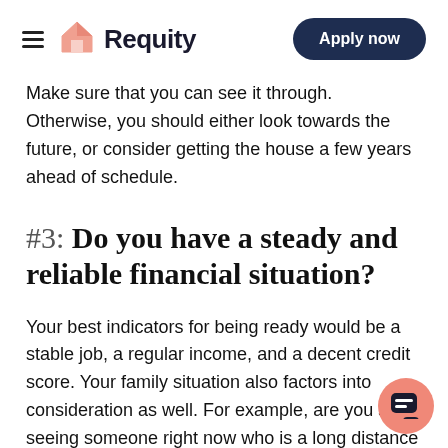Requity — Apply now
Make sure that you can see it through. Otherwise, you should either look towards the future, or consider getting the house a few years ahead of schedule.
#3: Do you have a steady and reliable financial situation?
Your best indicators for being ready would be a stable job, a regular income, and a decent credit score. Your family situation also factors into consideration as well. For example, are you seeing someone right now who is a long distance from you? If so, are you and your relationship the…